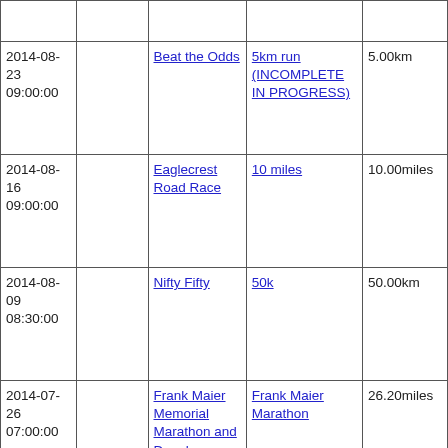| Date |  | Event | Category | Distance |
| --- | --- | --- | --- | --- |
|  |  |  |  |  |
| 2014-08-23 09:00:00 |  | Beat the Odds | 5km run (INCOMPLETE IN PROGRESS) | 5.00km |
| 2014-08-16 09:00:00 |  | Eaglecrest Road Race | 10 miles | 10.00miles |
| 2014-08-09 08:30:00 |  | Nifty Fifty | 50k | 50.00km |
| 2014-07-26 07:00:00 |  | Frank Maier Memorial Marathon and Douglas Island Half | Frank Maier Marathon | 26.20miles |